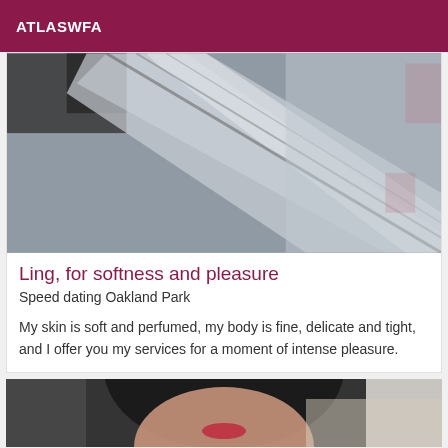ATLASWFA
[Figure (photo): Blurry close-up photo showing reflective metallic surfaces, possibly elevator or escalator interior]
Ling, for softness and pleasure
Speed dating Oakland Park
My skin is soft and perfumed, my body is fine, delicate and tight, and I offer you my services for a moment of intense pleasure.
[Figure (photo): Partial photo of a woman with dark hair and red lips, cropped at bottom of page]